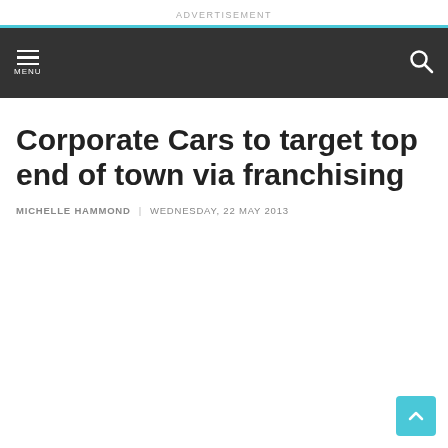ADVERTISEMENT
Corporate Cars to target top end of town via franchising
MICHELLE HAMMOND | WEDNESDAY, 22 MAY 2013